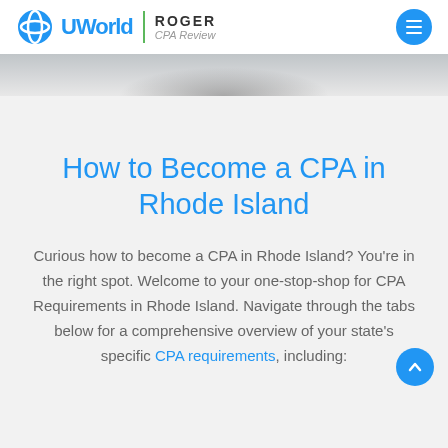UWorld | ROGER CPA Review
[Figure (photo): Hero banner image strip showing a blurred background scene]
How to Become a CPA in Rhode Island
Curious how to become a CPA in Rhode Island? You're in the right spot. Welcome to your one-stop-shop for CPA Requirements in Rhode Island. Navigate through the tabs below for a comprehensive overview of your state's specific CPA requirements, including: